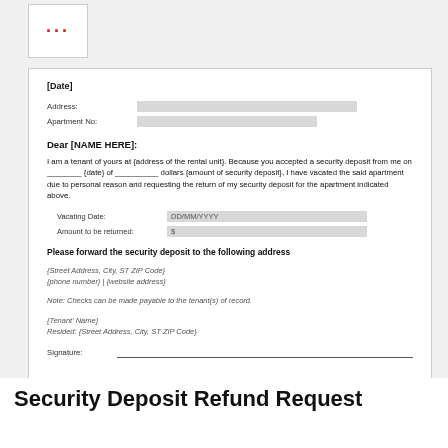[Figure (logo): Three red dots icon in a white box]
[Date]
Address:
Apartment No:
Dear [NAME HERE]:
I am a tenant of yours at {address of the rental unit}. Because you accepted a security deposit from me on ________ {date} of __________ dollars {amount of security deposit}, I have vacated the said apartment due to personal reason and requesting the return of my security deposit for the apartment indicated above.
Vacating Date: DD/MM/YYYY
Amount to be returned: $
Please forward the security deposit to the following address
{Street Address, City, ST ZIP Code}
{phone number} | {website address}
Note: Checks can be made payable to the tenant(s) of record.
{Tenant' Name}
Resided: {Street Address, City, ST ZIP Code}
Signature:
Security Deposit Refund Request Form